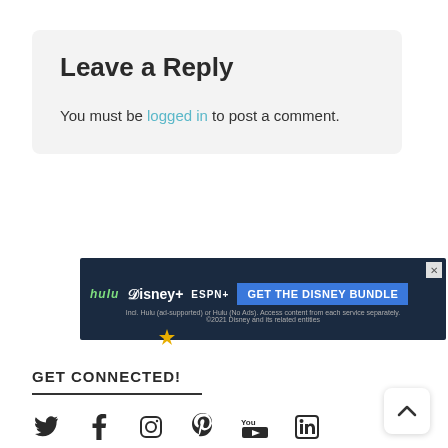Leave a Reply
You must be logged in to post a comment.
[Figure (other): Disney Bundle advertisement banner showing Hulu, Disney+, ESPN+ logos with blue CTA button 'GET THE DISNEY BUNDLE'. Fine print: Incl. Hulu (ad-supported) or Hulu (No Ads). Access content from each service separately. ©2021 Disney and its related entities]
GET CONNECTED!
[Figure (other): Row of social media icons: Twitter, Facebook, Instagram, Pinterest, YouTube, LinkedIn]